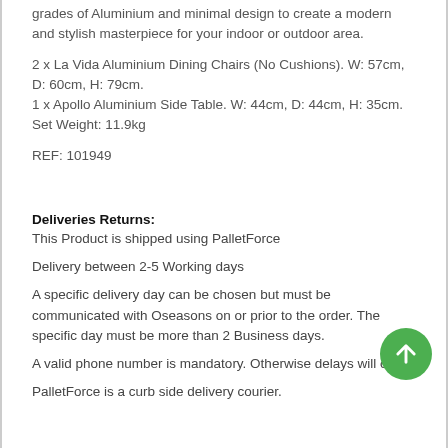grades of Aluminium and minimal design to create a modern and stylish masterpiece for your indoor or outdoor area.
2 x La Vida Aluminium Dining Chairs (No Cushions). W: 57cm, D: 60cm, H: 79cm.
1 x Apollo Aluminium Side Table. W: 44cm, D: 44cm, H: 35cm.
Set Weight: 11.9kg
REF: 101949
Deliveries Returns:
This Product is shipped using PalletForce
Delivery between 2-5 Working days
A specific delivery day can be chosen but must be communicated with Oseasons on or prior to the order. The specific day must be more than 2 Business days.
A valid phone number is mandatory. Otherwise delays will occur.
PalletForce is a curb side delivery courier.